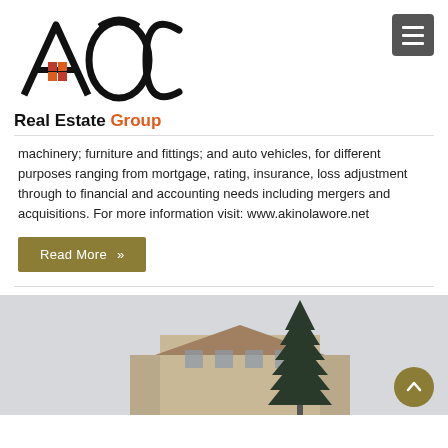[Figure (logo): AOC Real Estate Group logo — large stylized letters AOC with a red grid icon and the tagline 'Real Estate Group' in black and orange]
machinery; furniture and fittings; and auto vehicles, for different purposes ranging from mortgage, rating, insurance, loss adjustment through to financial and accounting needs including mergers and acquisitions. For more information visit: www.akinolawore.net
Read More »
[Figure (photo): A building exterior with a tall conifer/pine tree in the foreground against a light sky background]